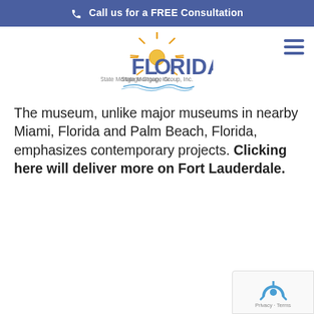Call us for a FREE Consultation
[Figure (logo): Florida State Mortgage Group, Inc. logo with sun rays and water wave design]
The museum, unlike major museums in nearby Miami, Florida and Palm Beach, Florida, emphasizes contemporary projects. Clicking here will deliver more on Fort Lauderdale.